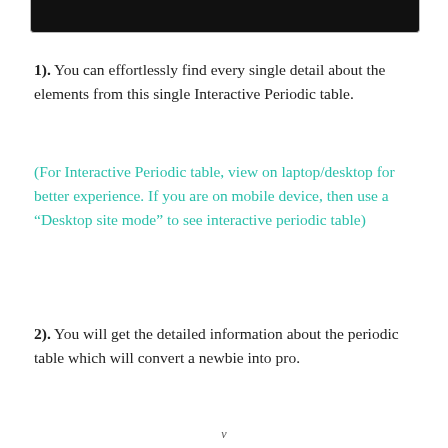[Figure (screenshot): Dark/black top bar image, partially visible at the top of the page]
1). You can effortlessly find every single detail about the elements from this single Interactive Periodic table.
(For Interactive Periodic table, view on laptop/desktop for better experience. If you are on mobile device, then use a “Desktop site mode” to see interactive periodic table)
2). You will get the detailed information about the periodic table which will convert a newbie into pro.
v